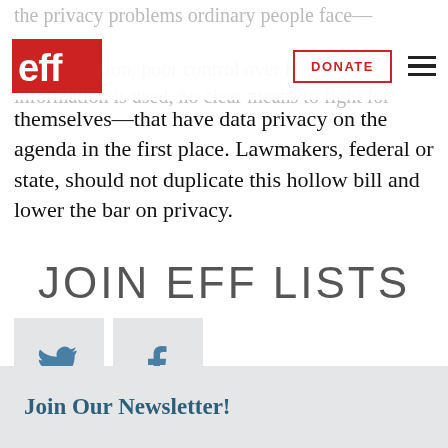EFF logo, DONATE button, hamburger menu
the privacy problems ordinary people face—invasive data collection, poor control over how their information is used, no clear means to fight for themselves—that have data privacy on the agenda in the first place. Lawmakers, federal or state, should not duplicate this hollow bill and lower the bar on privacy.
[Figure (other): Twitter and Facebook social share icon buttons]
JOIN EFF LISTS
Join Our Newsletter!